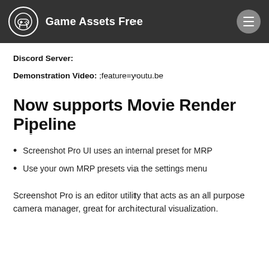Game Assets Free
Discord Server:
Demonstration Video: ;feature=youtu.be
Now supports Movie Render Pipeline
Screenshot Pro UI uses an internal preset for MRP
Use your own MRP presets via the settings menu
Screenshot Pro is an editor utility that acts as an all purpose camera manager, great for architectural visualization.